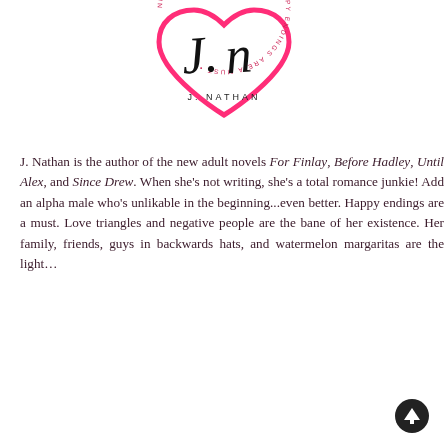[Figure (logo): J. Nathan author logo: a pink heart outline with cursive 'J.N.' initials and 'J. NATHAN' text, surrounded by circular text reading 'NEW ADULT ROMANCE BECAUSE HAPPY ENDINGS ARE A MUST']
J. Nathan is the author of the new adult novels For Finlay, Before Hadley, Until Alex, and Since Drew. When she's not writing, she's a total romance junkie! Add an alpha male who's unlikable in the beginning...even better. Happy endings are a must. Love triangles and negative people are the bane of her existence. Her family, friends, guys in backwards hats, and watermelon margaritas are the light...
[Figure (other): A circular scroll-to-top button with an upward arrow icon]